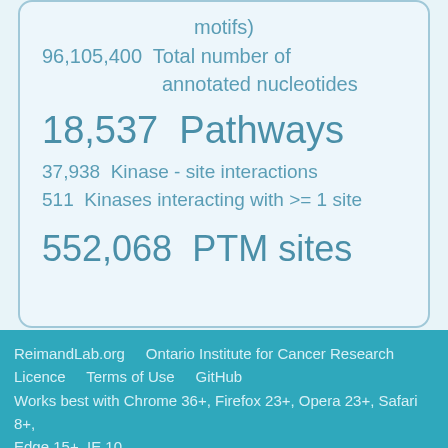motifs)
96,105,400  Total number of annotated nucleotides
18,537  Pathways
37,938  Kinase - site interactions
511  Kinases interacting with >= 1 site
552,068  PTM sites
ReimandLab.org    Ontario Institute for Cancer Research
Licence    Terms of Use    GitHub
Works best with Chrome 36+, Firefox 23+, Opera 23+, Safari 8+, Edge 15+, IE 10